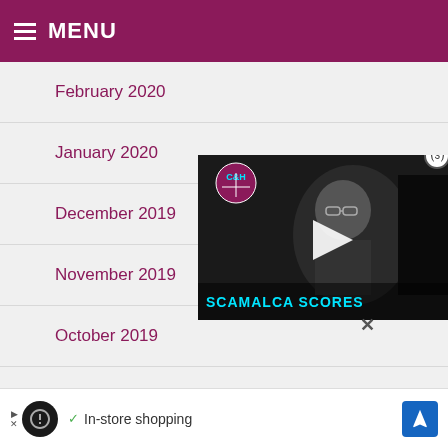MENU
February 2020
January 2020
December 2019
November 2019
October 2019
September 2019
August 2019
[Figure (screenshot): Video overlay showing a man with glasses in front of a screen, with C&H logo, play button, and 'SCAMALCA SCORES' text at bottom. A close button (X in circle) appears top right and an X below the video.]
[Figure (infographic): Advertisement bar at bottom with dark circle logo, checkmark, 'In-store shopping' text, and blue navigation arrow icon.]